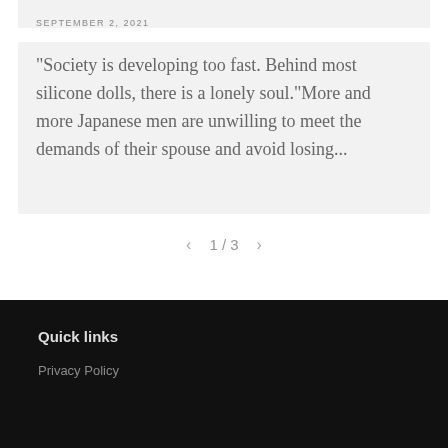SEPTEMBER 2, 2021
"Society is developing too fast. Behind most silicone dolls, there is a lonely soul."More and more Japanese men are unwilling to meet the demands of their spouse and avoid losing...
1 / 3
Quick links
Privacy Policy